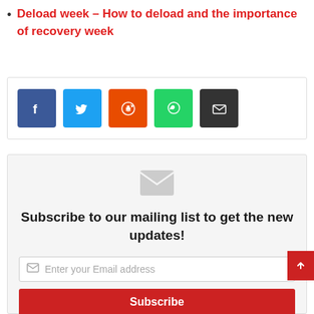Deload week – How to deload and the importance of recovery week
[Figure (infographic): Social share buttons: Facebook (blue), Twitter (light blue), Reddit (orange-red), WhatsApp (green), Email (dark gray)]
[Figure (infographic): Subscribe to mailing list widget with envelope icon, heading text 'Subscribe to our mailing list to get the new updates!', email input field with placeholder 'Enter your Email address', and a red Subscribe button]